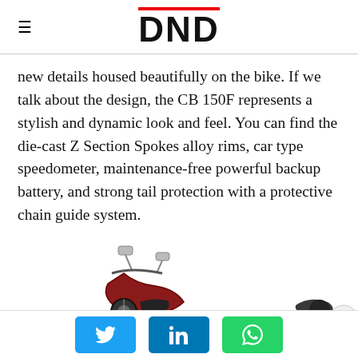DND
new details housed beautifully on the bike. If we talk about the design, the CB 150F represents a stylish and dynamic look and feel. You can find the die-cast Z Section Spokes alloy rims, car type speedometer, maintenance-free powerful backup battery, and strong tail protection with a protective chain guide system.
[Figure (photo): Partial view of a motorcycle (CB 150F) showing handlebars, mirrors, and rear section of the bike, with a close button overlay]
Twitter, LinkedIn, WhatsApp share buttons